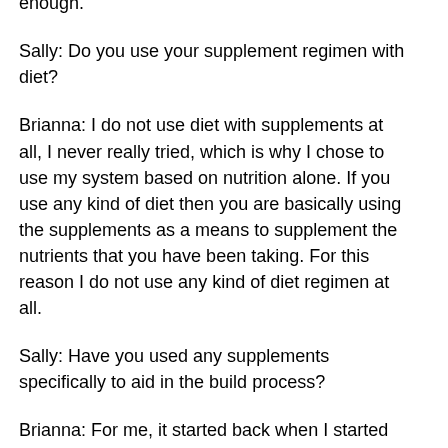and a good effect. I've learned so much using the supplements that I can't recommend them enough.
Sally: Do you use your supplement regimen with diet?
Brianna: I do not use diet with supplements at all, I never really tried, which is why I chose to use my system based on nutrition alone. If you use any kind of diet then you are basically using the supplements as a means to supplement the nutrients that you have been taking. For this reason I do not use any kind of diet regimen at all.
Sally: Have you used any supplements specifically to aid in the build process?
Brianna: For me, it started back when I started training in 2009, and was not until 2009 that I discovered the supplement line